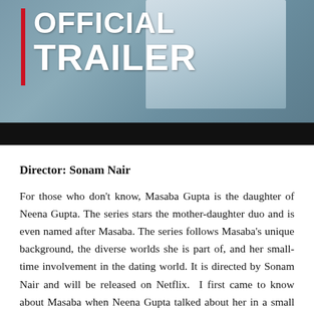[Figure (screenshot): Official Trailer thumbnail image with white text 'OFFICIAL TRAILER' on a red-bar-accented dark/outdoor background. Person in white jacket visible.]
Director: Sonam Nair
For those who don't know, Masaba Gupta is the daughter of Neena Gupta. The series stars the mother-daughter duo and is even named after Masaba. The series follows Masaba's unique background, the diverse worlds she is part of, and her small-time involvement in the dating world. It is directed by Sonam Nair and will be released on Netflix.  I first came to know about Masaba when Neena Gupta talked about her in a small video that was uploaded by Goalcast.  In the video, she explained how hard and